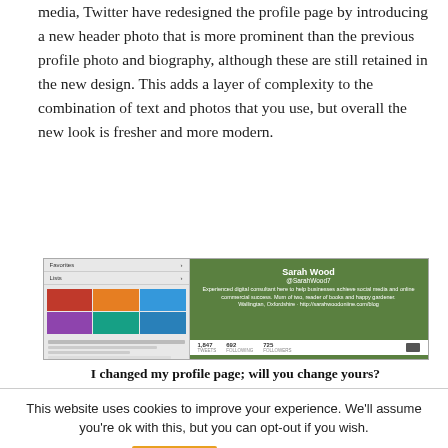media, Twitter have redesigned the profile page by introducing a new header photo that is more prominent than the previous profile photo and biography, although these are still retained in the new design. This adds a layer of complexity to the combination of text and photos that you use, but overall the new look is fresher and more modern.
[Figure (screenshot): Screenshot of a Twitter profile page showing Sarah Wood's redesigned profile with header photo, profile picture, bio, and stats (1,847 tweets, 692 following, 725 followers)]
I changed my profile page; will you change yours?
This website uses cookies to improve your experience. We'll assume you're ok with this, but you can opt-out if you wish.